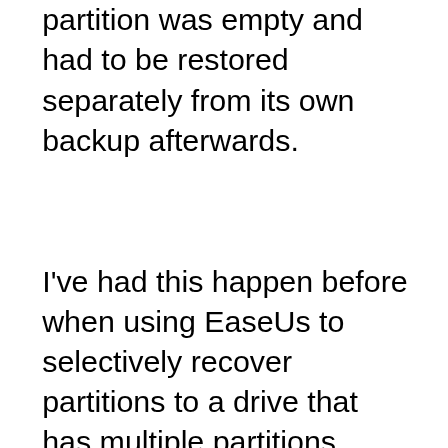partition was empty and had to be restored separately from its own backup afterwards.
I've had this happen before when using EaseUs to selectively recover partitions to a drive that has multiple partitions. Why is that? Hope that makes sense.
Reply
Mark Jacobs (Team Leo)
[Figure (other): CVS Pharmacy advertisement: Shop A Variety Of High Quality Photo Products At CVS® Today. Features CVS pharmacy logo and a blue diamond arrow icon.]